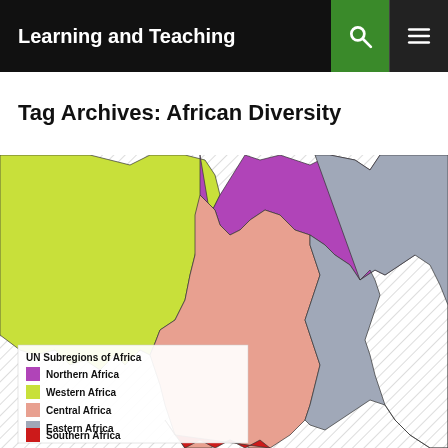Learning and Teaching
Tag Archives: African Diversity
[Figure (map): Map showing UN Subregions of Africa color-coded by region. Legend: Northern Africa (purple), Western Africa (yellow-green), Central Africa (salmon/pink), Eastern Africa (gray), Southern Africa (red). Map shows the lower half of the African continent with visible country borders.]